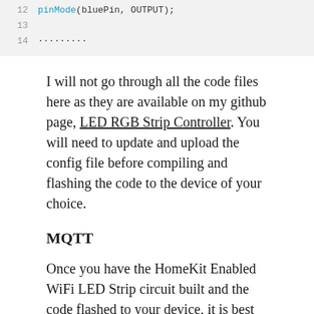[Figure (screenshot): Code snippet showing lines 12-14 of Arduino/C++ code with line numbers. Line 12: pinMode(bluePin, OUTPUT);  Line 13: (empty). Line 14: .........]
I will not go through all the code files here as they are available on my github page, LED RGB Strip Controller. You will need to update and upload the config file before compiling and flashing the code to the device of your choice.
MQTT
Once you have the HomeKit Enabled WiFi LED Strip circuit built and the code flashed to your device, it is best to test that it can receive MQTT commands before you try and configure it to work on HomeKit.